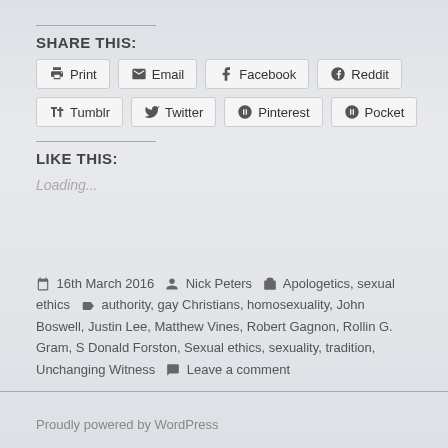SHARE THIS:
Print | Email | Facebook | Reddit | Tumblr | Twitter | Pinterest | Pocket
LIKE THIS:
Loading...
16th March 2016  Nick Peters  Apologetics, sexual ethics  authority, gay Christians, homosexuality, John Boswell, Justin Lee, Matthew Vines, Robert Gagnon, Rollin G. Gram, S Donald Forston, Sexual ethics, sexuality, tradition, Unchanging Witness  Leave a comment
Proudly powered by WordPress